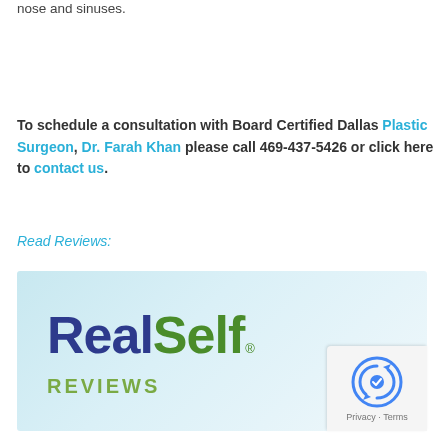nose and sinuses.
To schedule a consultation with Board Certified Dallas Plastic Surgeon, Dr. Farah Khan please call 469-437-5426 or click here to contact us.
Read Reviews:
[Figure (logo): RealSelf Reviews logo on a light blue gradient background with a reCAPTCHA Privacy - Terms badge in the bottom right corner]